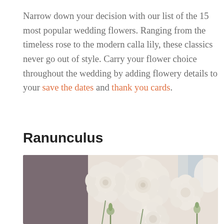Narrow down your decision with our list of the 15 most popular wedding flowers. Ranging from the timeless rose to the modern calla lily, these classics never go out of style. Carry your flower choice throughout the wedding by adding flowery details to your save the dates and thank you cards.
Ranunculus
[Figure (photo): Close-up photo of cream/white ranunculus flowers with layered petals, arranged in a bouquet against a soft background with a grey ribbon visible.]